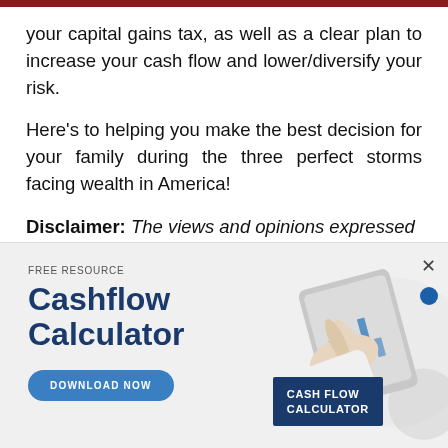your capital gains tax, as well as a clear plan to increase your cash flow and lower/diversify your risk.
Here's to helping you make the best decision for your family during the three perfect storms facing wealth in America!
Disclaimer: The views and opinions expressed
[Figure (infographic): Advertisement banner for a 'Cashflow Calculator' free resource. Left side shows 'FREE RESOURCE' label, 'Cashflow Calculator' in large bold navy text, and a 'DOWNLOAD NOW' button in blue. Right side shows a photo of hands using a tablet/calculator with charts, and a navy card labeled 'CASH FLOW CALCULATOR'. Has a close (×) button and a blue dot in the top right.]